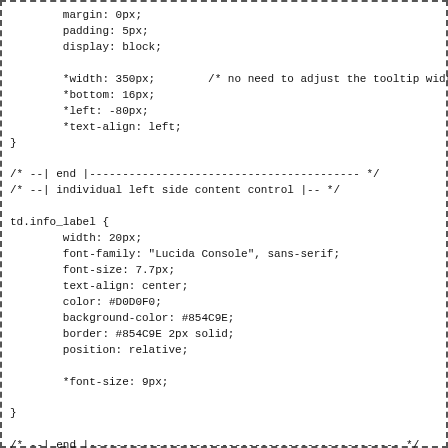margin: 0px;
        padding: 5px;
        display: block;

        *width: 350px;        /* no need to adjust the tooltip width
        *bottom: 16px;
        *left: -80px;
        *text-align: left;
}

/* --| end |----------------------------------------- */
/* --| individual left side content control |-- */

td.info_label {
        width: 20px;
        font-family: "Lucida Console", sans-serif;
        font-size: 7.7px;
        text-align: center;
        color: #D0D0F0;
        background-color: #854C9E;
        border: #854C9E 2px solid;
        position: relative;

        *font-size: 9px;

}

/* --| end |----------------------------------------------- */
/* --| individual right side - left content control |-- */

td.info_a {
        background-color: #EEEEFF;
        border: #854C9E 2px solid;
        border-right: 0px;
        color: #854C9E;
        font-family: "Lucida Console", sans-serif;
        font-size: 7.7